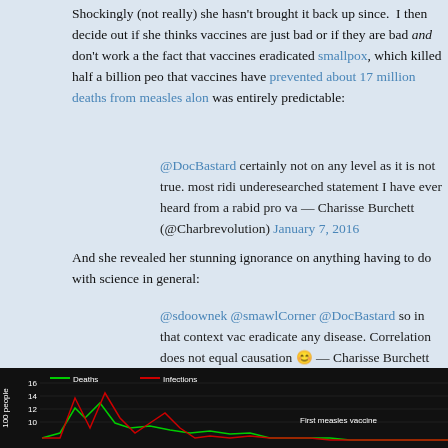Shockingly (not really) she hasn't brought it back up since. I then decide out if she thinks vaccines are just bad or if they are bad and don't work a the fact that vaccines eradicated smallpox, which killed half a billion peo that vaccines have prevented about 17 million deaths from measles alon was entirely predictable:
@DocBastard certainly not on any level as it is not true. most ridi underesearched statement I have ever heard from a rabid pro va — Charisse Burchett (@Charbrevolution) January 7, 2016
And she revealed her stunning ignorance on anything having to do with science in general:
@sdoownek @smawlCorner @DocBastard so in that context vac eradicate any disease. Correlation does not equal causation 😊 — Charisse Burchett (@Charbrevolution) January 7, 2016
Yes, despite the fact that we know exactly how vaccines work, why they she believes this is not causation. Continuing her spectacular ignorance "Vaccines didn't save us" bit, which Dr. David Gorski (aka Orac) has firm her this graphic, which very nicely demonstrates how the measles infect plummeted to near zero after the vaccine was released:
[Figure (line-chart): Dark background chart showing Deaths (green line) and Infections (red line) per 100 people over time, with annotation 'First measles vaccine'. The chart is partially visible at the bottom of the page.]